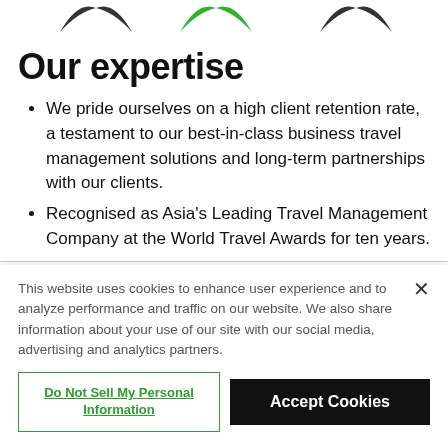[Figure (logo): Partial logo strip at top of page showing stylized arrow/bird icons in black and green]
Our expertise
We pride ourselves on a high client retention rate, a testament to our best-in-class business travel management solutions and long-term partnerships with our clients.
Recognised as Asia's Leading Travel Management Company at the World Travel Awards for ten years.
This website uses cookies to enhance user experience and to analyze performance and traffic on our website. We also share information about your use of our site with our social media, advertising and analytics partners.
Do Not Sell My Personal Information
Accept Cookies